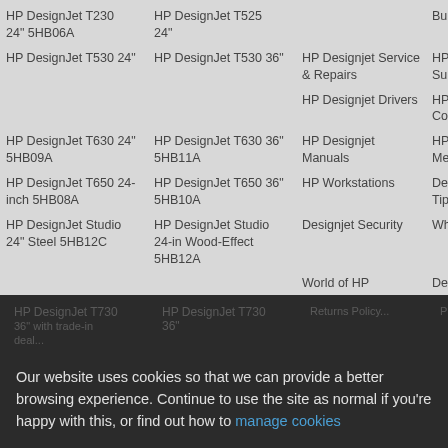HP DesignJet T230 24" 5HB06A
HP DesignJet T525 24"
Bundle Deals
HP DesignJet T530 24"
HP DesignJet T530 36"
HP Designjet Service & Repairs
HP Designjet Support
HP Designjet Drivers
HP Designjet Error Codes
HP DesignJet T630 24" 5HB09A
HP DesignJet T630 36" 5HB11A
HP Designjet Manuals
HP Designjet Memory Upgrades
HP DesignJet T650 24-inch 5HB08A
HP DesignJet T650 36" 5HB10A
HP Workstations
Designjet Purchase Tips
HP DesignJet Studio 24" Steel 5HB12C
HP DesignJet Studio 24-in Wood-Effect 5HB12A
Designjet Security
What is a plotter?
World of HP
Designjet Podcasts
HP DesignJet Studio 36" Steel 5HB14C
HP DesignJet Studio 36" Wood-Effect 5HB14A
HP Instant Printing Pro Utility
CONTACT US
HP DesignJet T730 36" with trade-in deal
HP DesignJet T730 36"
Our Terms & Conditions
Our website uses cookies so that we can provide a better browsing experience. Continue to use the site as normal if you're happy with this, or find out how to manage cookies
HP DesignJet T1130 36" with trade-in deal
HP DesignJet T130 36"
I'm happy with that. Hide this message.